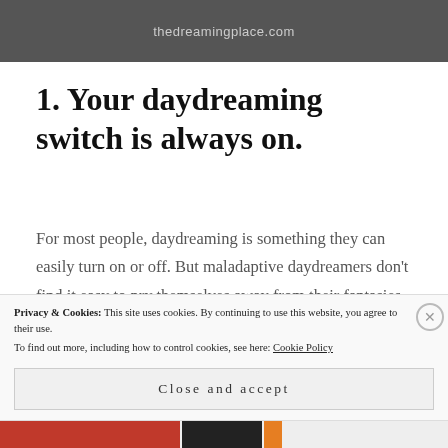[Figure (photo): Dark blurred background image with the text 'thedreamingplace.com' in light cursive font overlaid near the top center]
1. Your daydreaming switch is always on.
For most people, daydreaming is something they can easily turn on or off. But maladaptive daydreamers don't find it easy to pry themselves away from their fantasies. Sometimes their daydreams will interrupt their thoughts even when they need to focus on
Privacy & Cookies: This site uses cookies. By continuing to use this website, you agree to their use.
To find out more, including how to control cookies, see here: Cookie Policy
Close and accept